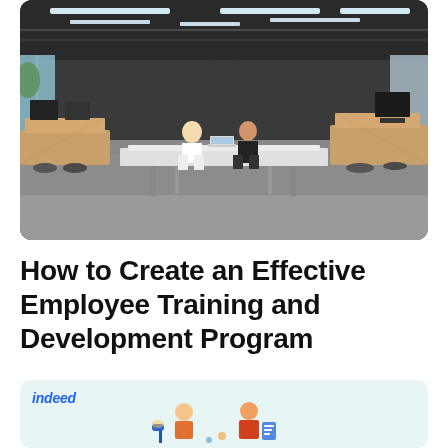[Figure (photo): An open modern office space with long desks, two people sitting and working together in the center, multiple workstations with monitors visible, industrial-style ceiling with lighting tracks, large windows along the sides.]
How to Create an Effective Employee Training and Development Program
[Figure (illustration): Indeed-branded card with light teal background showing the Indeed logo in blue italic font at the top left, and illustrated figures/icons related to employment at the bottom.]